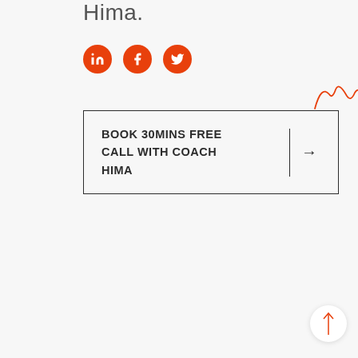Hima.
[Figure (illustration): Social media icon circles (LinkedIn, Facebook, Twitter) in orange/red, and a handwritten signature reading 'Hima' in red/orange cursive]
BOOK 30MINS FREE CALL WITH COACH HIMA →